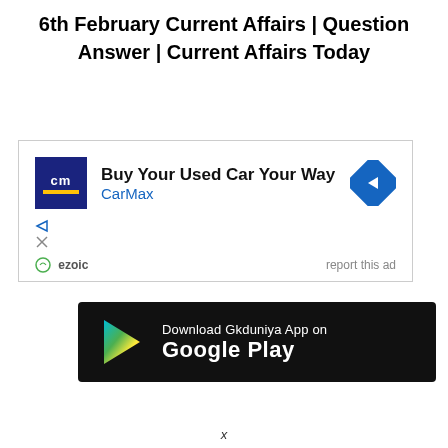6th February Current Affairs | Question Answer | Current Affairs Today
[Figure (screenshot): CarMax advertisement banner: 'Buy Your Used Car Your Way - CarMax' with CarMax logo, navigation arrow diamond icon, ad controls, ezoic label, and 'report this ad' link]
[Figure (screenshot): Google Play Store download banner: 'Download Gkduniya App on Google Play' with Play Store triangle icon on black background]